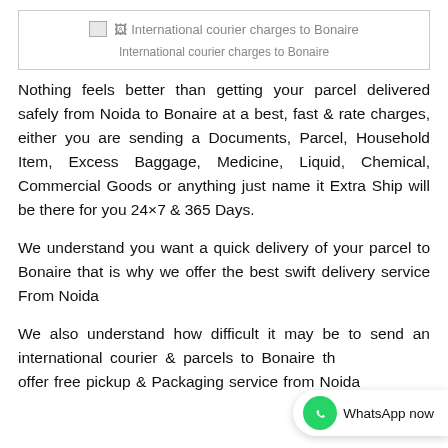[Figure (other): Image placeholder with alt text: International courier charges to Bonaire]
International courier charges to Bonaire
Nothing feels better than getting your parcel delivered safely from Noida to Bonaire at a best, fast & rate charges, either you are sending a Documents, Parcel, Household Item, Excess Baggage, Medicine, Liquid, Chemical, Commercial Goods or anything just name it Extra Ship will be there for you 24×7 & 365 Days.
We understand you want a quick delivery of your parcel to Bonaire that is why we offer the best swift delivery service From Noida
We also understand how difficult it may be to send an international courier & parcels to Bonaire that is why we offer free pickup & Packaging service from Noida and have trusted